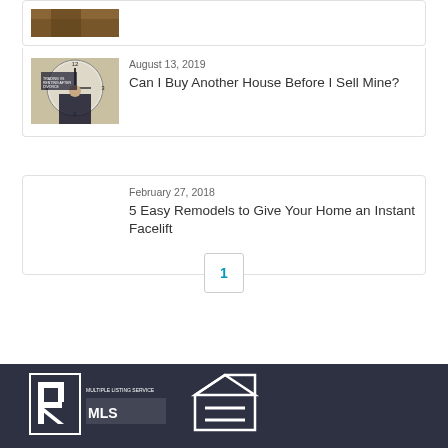[Figure (photo): Partial view of a thumbnail image (cropped, brownish tones) at the very top of the page]
August 13, 2019
Can I Buy Another House Before I Sell Mine?
[Figure (photo): Thumbnail of a man standing in front of a clock with text overlaid]
February 27, 2018
5 Easy Remodels to Give Your Home an Instant Facelift
1
[Figure (logo): Realtor MLS logo and Equal Housing logo in white on dark navy footer]